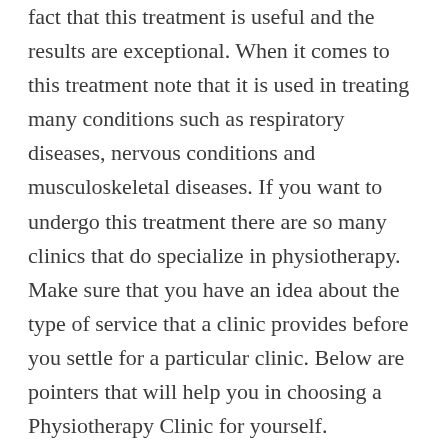fact that this treatment is useful and the results are exceptional. When it comes to this treatment note that it is used in treating many conditions such as respiratory diseases, nervous conditions and musculoskeletal diseases. If you want to undergo this treatment there are so many clinics that do specialize in physiotherapy. Make sure that you have an idea about the type of service that a clinic provides before you settle for a particular clinic. Below are pointers that will help you in choosing a Physiotherapy Clinic for yourself.
Check if the clinic is well equipped before seeking treatment from them. A serious clinics always ensure that they purchase equipment